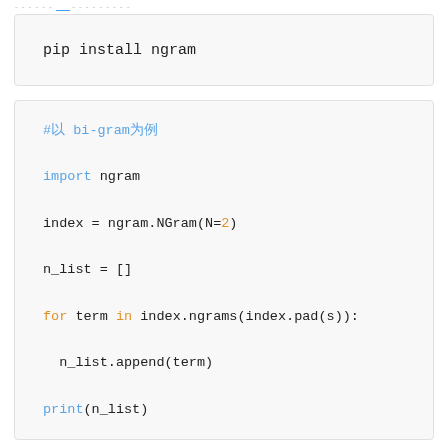--- [link] ---------
pip install ngram
#以bi-gram为例

import ngram

index = ngram.NGram(N=2)

n_list = []

for term in index.ngrams(index.pad(s)):

    n_list.append(term)

print(n_list)

##输出

['$I', 'I ', ' a', 'am', 'm ', ' a', 'an', 'n ',